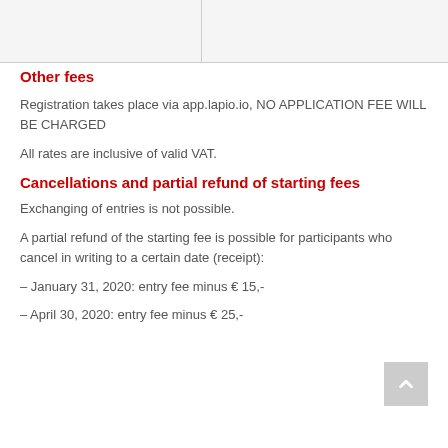|  |  |
Other fees
Registration takes place via app.lapio.io, NO APPLICATION FEE WILL BE CHARGED
All rates are inclusive of valid VAT.
Cancellations and partial refund of starting fees
Exchanging of entries is not possible.
A partial refund of the starting fee is possible for participants who cancel in writing to a certain date (receipt):
– January 31, 2020: entry fee minus € 15,-
– April 30, 2020: entry fee minus € 25,-